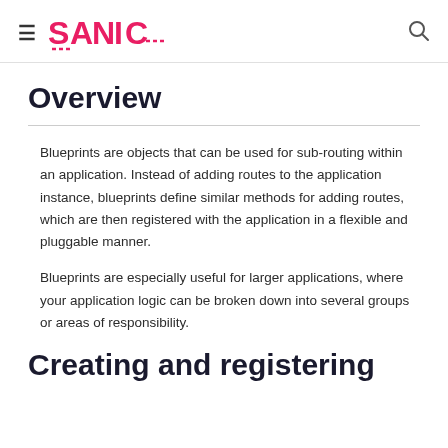≡ SANIC 🔍
Overview
Blueprints are objects that can be used for sub-routing within an application. Instead of adding routes to the application instance, blueprints define similar methods for adding routes, which are then registered with the application in a flexible and pluggable manner.
Blueprints are especially useful for larger applications, where your application logic can be broken down into several groups or areas of responsibility.
Creating and registering